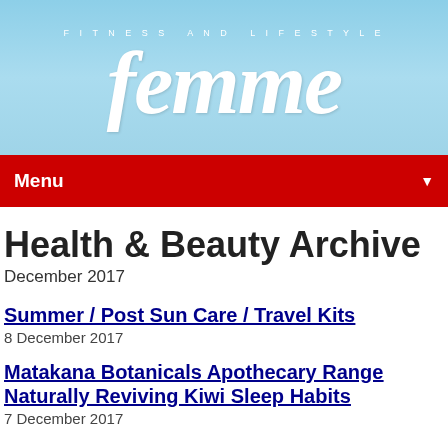[Figure (logo): Femme Fitness and Lifestyle magazine logo on light blue gradient background with large italic white text 'femme' and smaller text 'FITNESS AND LIFESTYLE' above it]
Menu ▼
Health & Beauty Archive
December 2017
Summer / Post Sun Care / Travel Kits
8 December 2017
Matakana Botanicals Apothecary Range Naturally Reviving Kiwi Sleep Habits
7 December 2017